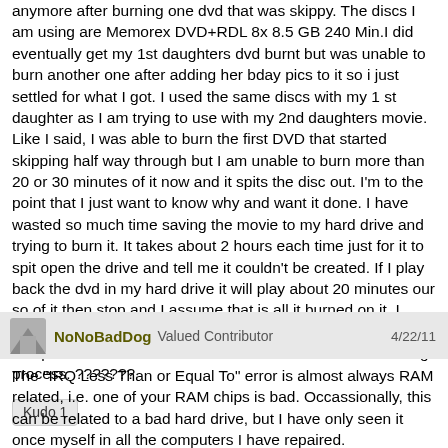anymore after burning one dvd that was skippy. The discs I am using are Memorex DVD+RDL 8x 8.5 GB 240 Min.I did eventually get my 1st daughters dvd burnt but was unable to burn another one after adding her bday pics to it so i just settled for what I got. I used the same discs with my 1 st daughter as I am trying to use with my 2nd daughters movie. Like I said, I was able to burn the first DVD that started skipping half way through but I am unable to burn more than 20 or 30 minutes of it now and it spits the disc out. I'm to the point that I just want to know why and want it done. I have wasted so much time saving the movie to my hard drive and trying to burn it. It takes about 2 hours each time just for it to spit open the drive and tell me it couldn't be created. If I play back the dvd in my hard drive it will play about 20 minutes our so of it then stop and I assume that is all it burned on it. I haven't had any problems with other dvd's playing on this computer. I love WMM but have had bad XP with the burning process. ???????
Kudo 1
NoNoBadDog Valued Contributor   4/22/11
The "IRQ Less Than or Equal To" error is almost always RAM related, i.e. one of your RAM chips is bad.  Occassionally, this can be related to a bad hard drive, but I have only seen it once myself in all the computers I have repaired.